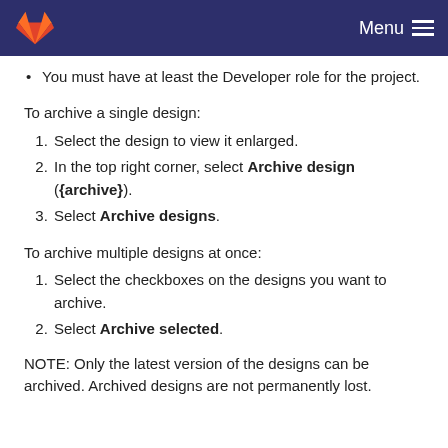Menu
You must have at least the Developer role for the project.
To archive a single design:
1. Select the design to view it enlarged.
2. In the top right corner, select Archive design ({archive}).
3. Select Archive designs.
To archive multiple designs at once:
1. Select the checkboxes on the designs you want to archive.
2. Select Archive selected.
NOTE: Only the latest version of the designs can be archived. Archived designs are not permanently lost.